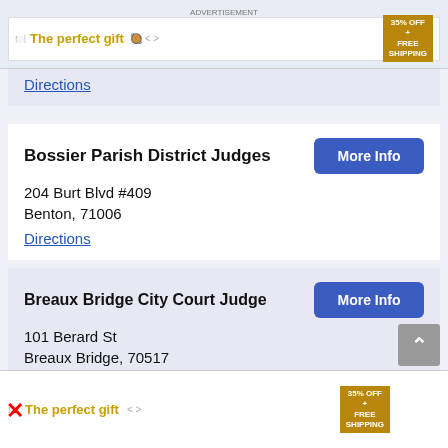[Figure (screenshot): Advertisement banner at top: 'The perfect gift' with food imagery and '35% OFF + FREE SHIPPING' badge]
Directions
Bossier Parish District Judges
204 Burt Blvd #409
Benton, 71006
Directions
Breaux Bridge City Court Judge
101 Berard St
Breaux Bridge, 70517
Directions
Caddo Parish Clerk Of Court
501 Texas St
[Figure (screenshot): Advertisement banner at bottom: 'The perfect gift' with food imagery and '35% OFF + FREE SHIPPING' badge]